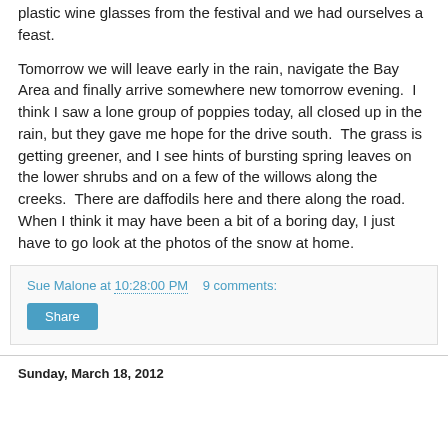plastic wine glasses from the festival and we had ourselves a feast.
Tomorrow we will leave early in the rain, navigate the Bay Area and finally arrive somewhere new tomorrow evening.  I think I saw a lone group of poppies today, all closed up in the rain, but they gave me hope for the drive south.  The grass is getting greener, and I see hints of bursting spring leaves on the lower shrubs and on a few of the willows along the creeks.  There are daffodils here and there along the road.  When I think it may have been a bit of a boring day, I just have to go look at the photos of the snow at home.
Sue Malone at 10:28:00 PM   9 comments:
Share
Sunday, March 18, 2012